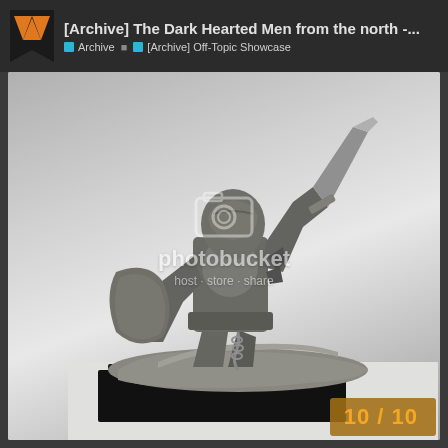[Archive] The Dark Hearted Men from the north -... | Archive | [Archive] Off-Topic Showcase
[Figure (photo): Close-up photograph of an unpainted grey plastic Warhammer-style warrior miniature figure, holding a sword and shield, mounted on a black square base. A Photobucket watermark is overlaid on the image.]
10 / 10